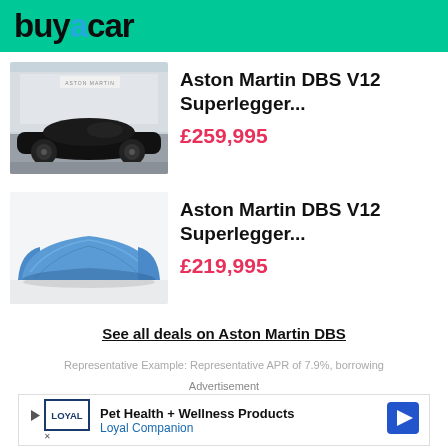buyacar
[Figure (photo): Black Aston Martin DBS V12 Superleggera at an Aston Martin dealership]
Aston Martin DBS V12 Superlegger...
£259,995
[Figure (photo): Car covered with a blue cover sheet]
Aston Martin DBS V12 Superlegger...
£219,995
See all deals on Aston Martin DBS
Representative Example: Representative APR of 7.9%, borrowing
Advertisement
[Figure (other): Advertisement banner for Loyal Companion Pet Health + Wellness Products]